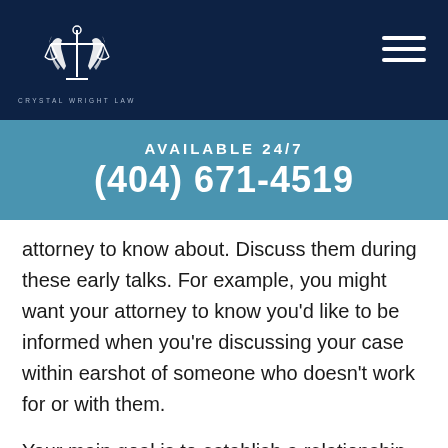[Figure (logo): Crystal Wright Law logo with scales of justice and laurel wreath on dark navy background, with firm name below]
AVAILABLE 24/7
(404) 671-4519
attorney to know about. Discuss them during these early talks. For example, you might want your attorney to know you'd like to be informed when you're discussing your case within earshot of someone who doesn't work for or with them.
Your main goal is to establish a relationship in which you are thoroughly comfortable talking about your case with your lawyer. Remember, this is key to getting the results you want.